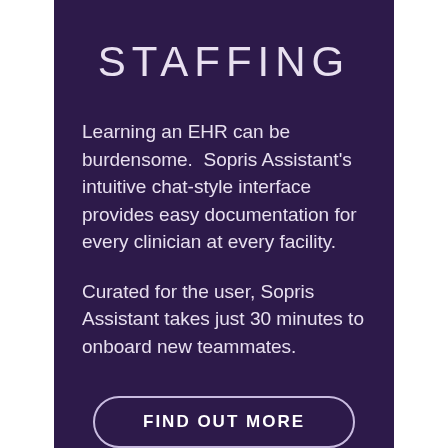STAFFING
Learning an EHR can be burdensome.  Sopris Assistant's intuitive chat-style interface provides easy documentation for every clinician at every facility.
Curated for the user, Sopris Assistant takes just 30 minutes to onboard new teammates.
FIND OUT MORE